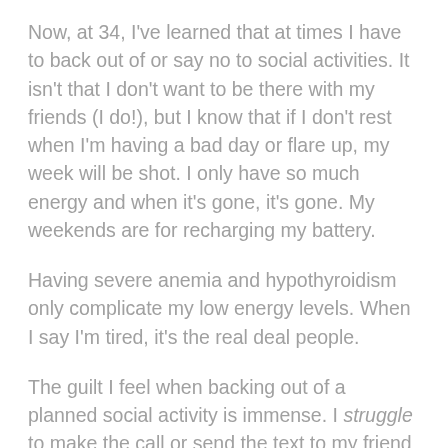Now, at 34, I've learned that at times I have to back out of or say no to social activities. It isn't that I don't want to be there with my friends (I do!), but I know that if I don't rest when I'm having a bad day or flare up, my week will be shot. I only have so much energy and when it's gone, it's gone. My weekends are for recharging my battery.
Having severe anemia and hypothyroidism only complicate my low energy levels. When I say I'm tired, it's the real deal people.
The guilt I feel when backing out of a planned social activity is immense. I struggle to make the call or send the text to my friend for fear they will be angry with me or worse yet – hurt by my absence. I have felt the coldness in their responses and I just know I've